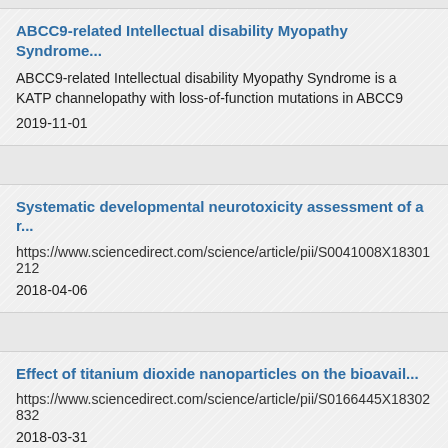ABCC9-related Intellectual disability Myopathy Syndrome...
ABCC9-related Intellectual disability Myopathy Syndrome is a KATP channelopathy with loss-of-function mutations in ABCC9
2019-11-01
Systematic developmental neurotoxicity assessment of a r...
https://www.sciencedirect.com/science/article/pii/S0041008X18301212
2018-04-06
Effect of titanium dioxide nanoparticles on the bioavail...
https://www.sciencedirect.com/science/article/pii/S0166445X18302832
2018-03-31